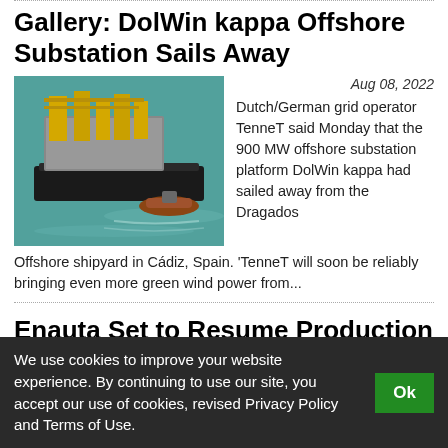Gallery: DolWin kappa Offshore Substation Sails Away
[Figure (photo): Aerial view of the DolWin kappa offshore substation platform being towed by a vessel across teal-colored water, with yellow crane structures visible on the platform.]
Aug 08, 2022
Dutch/German grid operator TenneT said Monday that the 900 MW offshore substation platform DolWin kappa had sailed away from the Dragados Offshore shipyard in Cádiz, Spain. 'TenneT will soon be reliably bringing even more green wind power from...
Enauta Set to Resume Production from Atlanta Field Offshore Brazil
[Figure (photo): Partially visible image of offshore vessel/platform, clipped by cookie banner.]
Aug 08, 2022
We use cookies to improve your website experience. By continuing to use our site, you accept our use of cookies, revised Privacy Policy and Terms of Use.